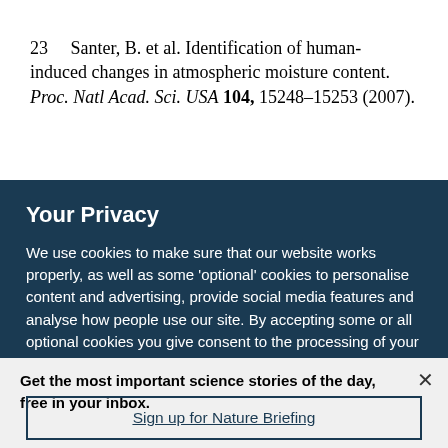23  Santer, B. et al. Identification of human-induced changes in atmospheric moisture content. Proc. Natl Acad. Sci. USA 104, 15248–15253 (2007).
Your Privacy
We use cookies to make sure that our website works properly, as well as some 'optional' cookies to personalise content and advertising, provide social media features and analyse how people use our site. By accepting some or all optional cookies you give consent to the processing of your personal data, including transfer to third parties, some in countries outside of the European Economic Area that do not offer the same data protection standards as the country where you live. You can decide which optional cookies to accept by clicking on 'Manage Settings', where you can
Get the most important science stories of the day, free in your inbox.
Sign up for Nature Briefing